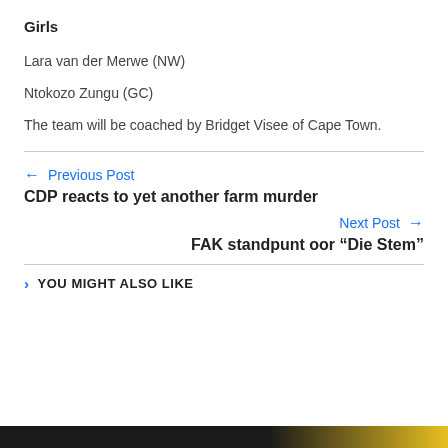Girls
Lara van der Merwe (NW)
Ntokozo Zungu (GC)
The team will be coached by Bridget Visee of Cape Town.
← Previous Post
CDP reacts to yet another farm murder
Next Post →
FAK standpunt oor “Die Stem”
YOU MIGHT ALSO LIKE